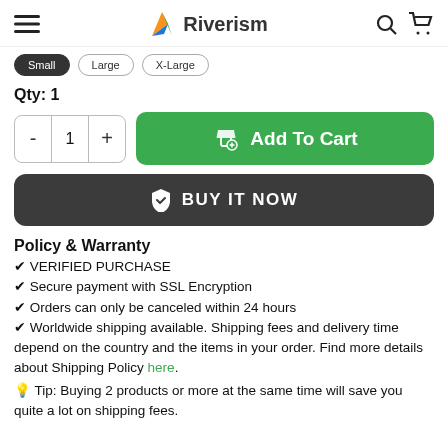Riverism
[Figure (screenshot): Size selector buttons: small (selected/dark), large, x-large]
Qty: 1
[Figure (screenshot): Quantity control with minus, 1, plus buttons and green Add To Cart button]
[Figure (screenshot): Dark BUY IT NOW button with shield checkmark icon]
Policy & Warranty
✔ VERIFIED PURCHASE
✔ Secure payment with SSL Encryption
✔ Orders can only be canceled within 24 hours
✔ Worldwide shipping available. Shipping fees and delivery time depend on the country and the items in your order. Find more details about Shipping Policy here.
💡 Tip: Buying 2 products or more at the same time will save you quite a lot on shipping fees.